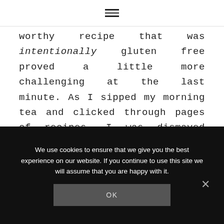≡
worthy recipe that was intentionally gluten free proved a little more challenging at the last minute. As I sipped my morning tea and clicked through pages of recipes, I was dismayed that the time ticked quickly away without producing a recipe fit for this gathering. Not that I didn't come across any promising ones…I found several I wanted to try. The problem was time and missing ingredients for many recipes.
We use cookies to ensure that we give you the best experience on our website. If you continue to use this site we will assume that you are happy with it.
OK